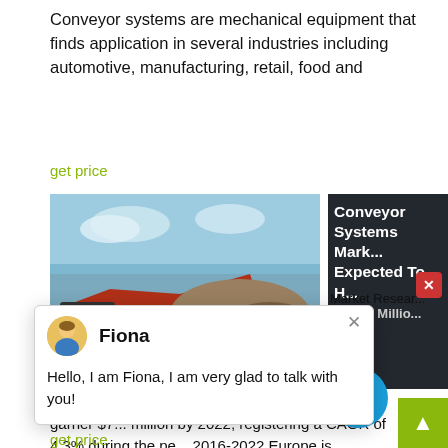Conveyor systems are mechanical equipment that finds application in several industries including automotive, manufacturing, retail, food and
get price
[Figure (photo): Outdoor industrial machinery/conveyor equipment at a quarry or construction site, with heavy machinery visible against a cloudy sky.]
Conveyor Systems Market Expected To Hit $7,573 Millio...
[Figure (screenshot): Chat popup with avatar of Fiona, name 'Fiona', and message 'Hello, I am Fiona, I am very glad to talk with you!']
Market Research
forecasts that the global market is expected to garner $7... million by 2022, registering a CAGR of 4.3% during the pe... 2016-2022.Europe is expected to dominate throughout the forecast period due to boost in the e-commerce retail industry. Asia-Pacific region is expected to grow at the fastest rate owing to extensive
get price